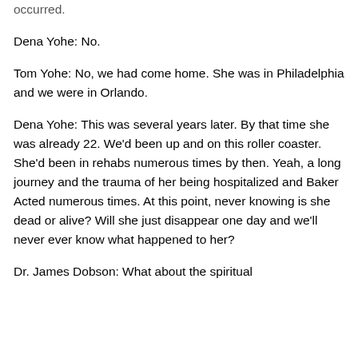occurred.
Dena Yohe: No.
Tom Yohe: No, we had come home. She was in Philadelphia and we were in Orlando.
Dena Yohe: This was several years later. By that time she was already 22. We'd been up and on this roller coaster. She'd been in rehabs numerous times by then. Yeah, a long journey and the trauma of her being hospitalized and Baker Acted numerous times. At this point, never knowing is she dead or alive? Will she just disappear one day and we'll never ever know what happened to her?
Dr. James Dobson: What about the spiritual